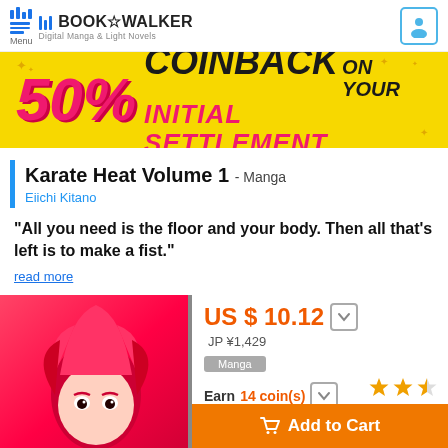BOOK☆WALKER Digital Manga & Light Novels
[Figure (infographic): 50% COINBACK ON YOUR INITIAL SETTLEMENT promotional banner with yellow background and pink/black text]
Karate Heat Volume 1 - Manga
Eiichi Kitano
"All you need is the floor and your body. Then all that's left is to make a fist."
read more
[Figure (illustration): Manga book cover showing an anime character with red spiky hair]
US $ 10.12
JP ¥1,429
Manga
Earn 14 coin(s)
Add to Cart